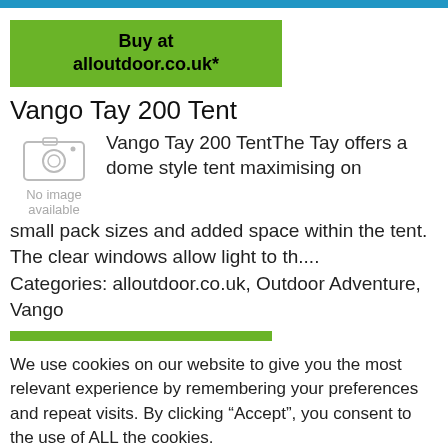[Figure (other): Blue top bar decorative element]
[Figure (other): Green buy button with text: Buy at alloutdoor.co.uk*]
Vango Tay 200 Tent
[Figure (photo): No image available placeholder with camera icon]
Vango Tay 200 TentThe Tay offers a dome style tent maximising on small pack sizes and added space within the tent. The clear windows allow light to th....
Categories: alloutdoor.co.uk, Outdoor Adventure, Vango
[Figure (other): Green progress bar]
We use cookies on our website to give you the most relevant experience by remembering your preferences and repeat visits. By clicking “Accept”, you consent to the use of ALL the cookies.
Cookie settings
ACCEPT